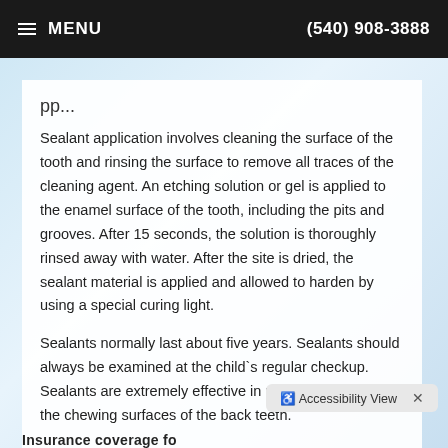≡ MENU   (540) 908-3888
Sealant application involves cleaning the surface of the tooth and rinsing the surface to remove all traces of the cleaning agent. An etching solution or gel is applied to the enamel surface of the tooth, including the pits and grooves. After 15 seconds, the solution is thoroughly rinsed away with water. After the site is dried, the sealant material is applied and allowed to harden by using a special curing light.
Sealants normally last about five years. Sealants should always be examined at the child`s regular checkup. Sealants are extremely effective in preventing decay in the chewing surfaces of the back teeth.
Insurance coverage fo...